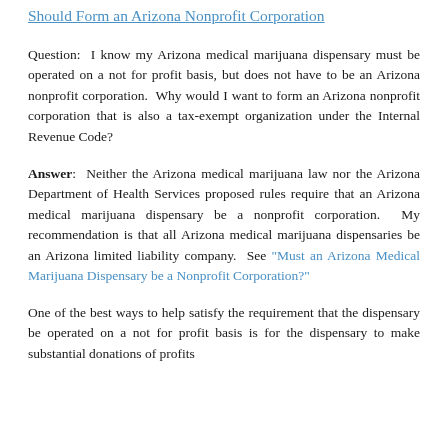Should Form an Arizona Nonprofit Corporation
Question:  I know my Arizona medical marijuana dispensary must be operated on a not for profit basis, but does not have to be an Arizona nonprofit corporation.  Why would I want to form an Arizona nonprofit corporation that is also a tax-exempt organization under the Internal Revenue Code?
Answer:  Neither the Arizona medical marijuana law nor the Arizona Department of Health Services proposed rules require that an Arizona medical marijuana dispensary be a nonprofit corporation.  My recommendation is that all Arizona medical marijuana dispensaries be an Arizona limited liability company.  See “Must an Arizona Medical Marijuana Dispensary be a Nonprofit Corporation?”
One of the best ways to help satisfy the requirement that the dispensary be operated on a not for profit basis is for the dispensary to make substantial donations of profits to tax-exempt charitable organizations, and one of the